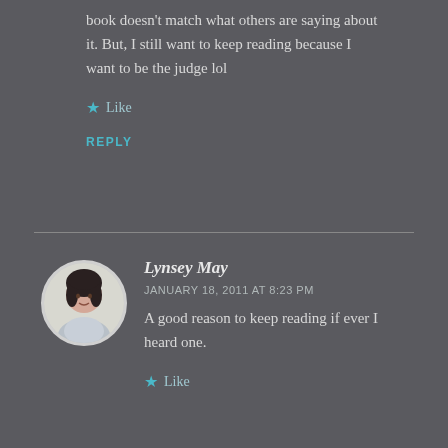book doesn't match what others are saying about it. But, I still want to keep reading because I want to be the judge lol
Like
REPLY
Lynsey May
JANUARY 18, 2011 AT 8:23 PM
A good reason to keep reading if ever I heard one.
Like